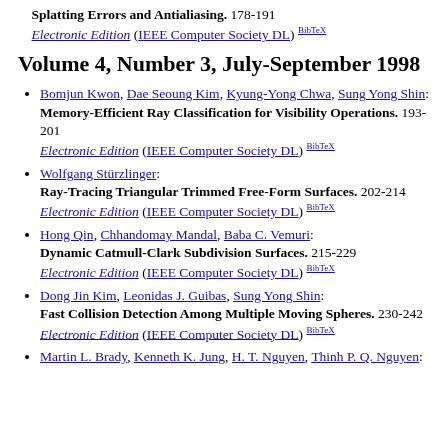Splatting Errors and Antialiasing. 178-191 Electronic Edition (IEEE Computer Society DL) BibTeX
Volume 4, Number 3, July-September 1998
Bomjun Kwon, Dae Seoung Kim, Kyung-Yong Chwa, Sung Yong Shin: Memory-Efficient Ray Classification for Visibility Operations. 193-201 Electronic Edition (IEEE Computer Society DL) BibTeX
Wolfgang Stürzlinger: Ray-Tracing Triangular Trimmed Free-Form Surfaces. 202-214 Electronic Edition (IEEE Computer Society DL) BibTeX
Hong Qin, Chhandomay Mandal, Baba C. Vemuri: Dynamic Catmull-Clark Subdivision Surfaces. 215-229 Electronic Edition (IEEE Computer Society DL) BibTeX
Dong Jin Kim, Leonidas J. Guibas, Sung Yong Shin: Fast Collision Detection Among Multiple Moving Spheres. 230-242 Electronic Edition (IEEE Computer Society DL) BibTeX
Martin L. Brady, Kenneth K. Jung, H. T. Nguyen, Thinh P. Q. Nguyen: